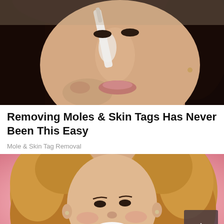[Figure (photo): Close-up photo of a woman with dark hair applying a nose strip or cream to her nose with a tool, face close up showing skin, beauty/skincare context]
Removing Moles & Skin Tags Has Never Been This Easy
Mole & Skin Tag Removal
[Figure (photo): Photo of a smiling woman with curly blonde-brown hair against a pink background, holding what appears to be a dark credit card, cheerful expression]